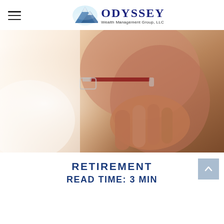ODYSSEY Wealth Management Group, LLC
[Figure (photo): Close-up photo of an elderly man adjusting his glasses, warm toned lighting, blurred background]
RETIREMENT
READ TIME: 3 MIN